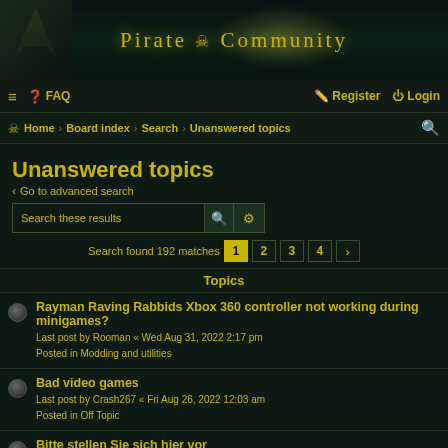[Figure (screenshot): Pirate Community forum banner with dark teal background, moon glow, pirate ship silhouette, and golden 'Pirate Community' title text with skull icon]
≡  ❓ FAQ    Register  Login
☠ Home › Board index › Search › Unanswered topics 🔍
Unanswered topics
< Go to advanced search
Search these results  🔍  ⚙
Search found 192 matches  1  2  3  4  ›
Topics
Rayman Raving Rabbids Xbox 360 controller not working during minigames?
Last post by Rooman « Wed Aug 31, 2022 2:17 pm
Posted in Modding and utilities
Bad video games
Last post by Crash267 « Fri Aug 26, 2022 12:03 am
Posted in Off Topic
Bitte stellen Sie sich hier vor
Last post by arnoldfranklin « Tue Aug 23, 2022 12:07 am
Posted in Mitglieder Forum